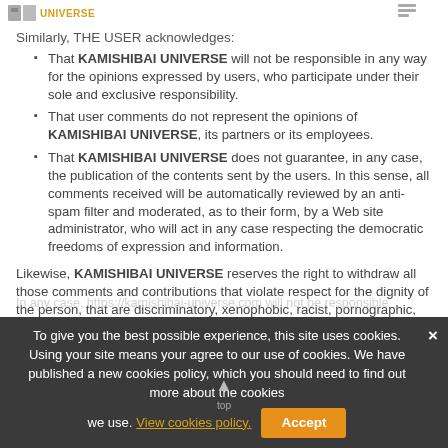UNIVERSE
Similarly, THE USER acknowledges:
That KAMISHIBAI UNIVERSE will not be responsible in any way for the opinions expressed by users, who participate under their sole and exclusive responsibility.
That user comments do not represent the opinions of KAMISHIBAI UNIVERSE, its partners or its employees.
That KAMISHIBAI UNIVERSE does not guarantee, in any case, the publication of the contents sent by the users. In this sense, all comments received will be automatically reviewed by an anti-spam filter and moderated, as to their form, by a Web site administrator, who will act in any case respecting the democratic freedoms of expression and information.
Likewise, KAMISHIBAI UNIVERSE reserves the right to withdraw all those comments and contributions that violate respect for the dignity of the person, that are discriminatory, xenophobic, racist, pornographic, that threaten youth or children, public order or security or that, in its opinion, are not appropriate for publication.
In any case, https://kamishibai-universe.com will not be responsible...
To give you the best possible experience, this site uses cookies. Using your site means your agree to our use of cookies. We have published a new cookies policy, which you should need to find out more about the cookies we use. View cookies policy. Accept